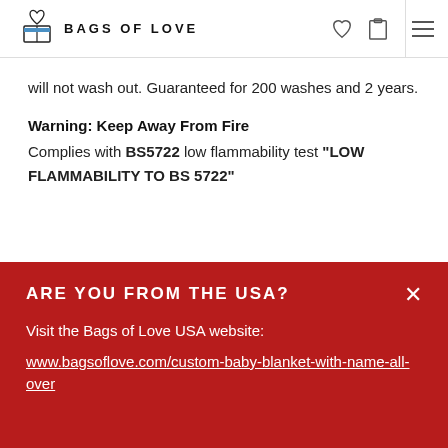BAGS OF LOVE
will not wash out. Guaranteed for 200 washes and 2 years.
Warning: Keep Away From Fire
Complies with BS5722 low flammability test "LOW FLAMMABILITY TO BS 5722"
ARE YOU FROM THE USA?
Visit the Bags of Love USA website: www.bagsoflove.com/custom-baby-blanket-with-name-all-over